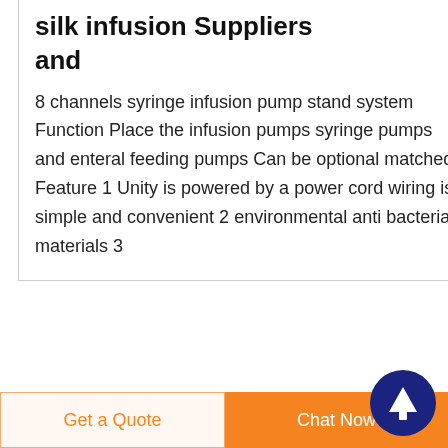silk infusion Suppliers and
8 channels syringe infusion pump stand system Function Place the infusion pumps syringe pumps and enteral feeding pumps Can be optional matched Feature 1 Unity is powered by a power cord wiring is simple and convenient 2 environmental anti bacterial materials 3
[Figure (illustration): Dark navy blue circle button with white upward arrow icon (scroll to top button)]
[Figure (photo): Blue square thumbnail image of an oxygen regulator product]
Oxygen Regulator in
Get a Quote
Chat Now